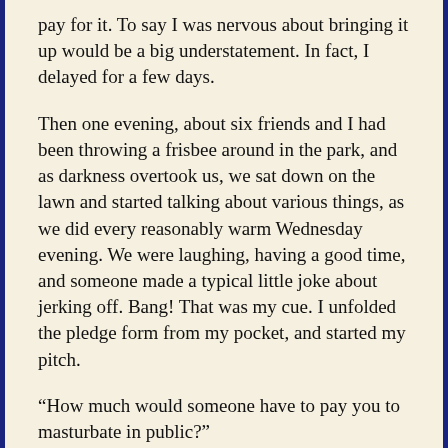pay for it. To say I was nervous about bringing it up would be a big understatement. In fact, I delayed for a few days.
Then one evening, about six friends and I had been throwing a frisbee around in the park, and as darkness overtook us, we sat down on the lawn and started talking about various things, as we did every reasonably warm Wednesday evening. We were laughing, having a good time, and someone made a typical little joke about jerking off. Bang! That was my cue. I unfolded the pledge form from my pocket, and started my pitch.
“How much would someone have to pay you to masturbate in public?”